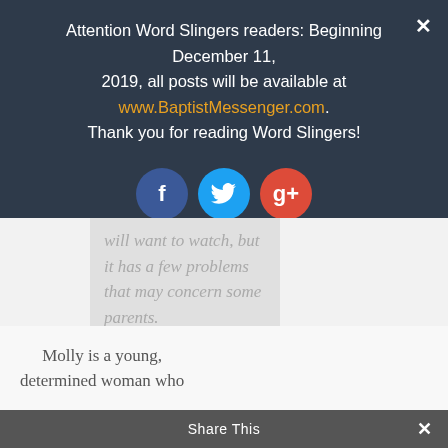Attention Word Slingers readers: Beginning December 11, 2019, all posts will be available at www.BaptistMessenger.com. Thank you for reading Word Slingers!
[Figure (illustration): Three social media icon circles: Facebook (blue, f), Twitter (light blue, bird), Google+ (red, g+)]
will want to watch, but it has a few problems that may concern some parents.
Molly is a young, determined woman who
Share This